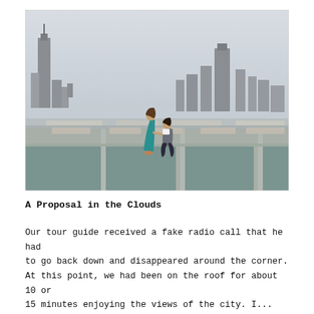[Figure (photo): A man kneeling on one knee proposing to a woman in a teal dress on a rooftop with the Chicago city skyline and hazy sky visible in the background.]
A Proposal in the Clouds
Our tour guide received a fake radio call that he had to go back down and disappeared around the corner. At this point, we had been on the roof for about 10 or 15 minutes enjoying the views of the city. I...